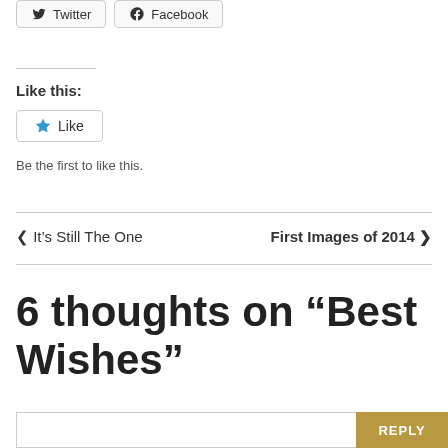[Figure (other): Social share buttons for Twitter and Facebook]
Like this:
[Figure (other): Like button with star icon]
Be the first to like this.
< It's Still The One
First Images of 2014 >
6 thoughts on “Best Wishes”
REPLY